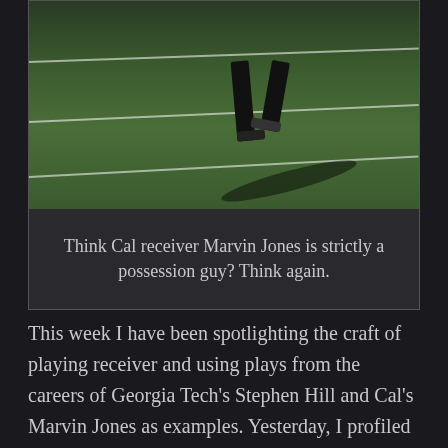[Figure (photo): Photo of a football player's legs/feet on a green turf field with white yard lines, taken from a low angle showing long shadow on the field.]
Think Cal receiver Marvin Jones is strictly a possession guy? Think again.
This week I have been spotlighting the craft of playing receiver and using plays from the careers of Georgia Tech's Stephen Hill and Cal's Marvin Jones as examples. Yesterday, I profiled two crossing routes that couldn't have been run more different from each